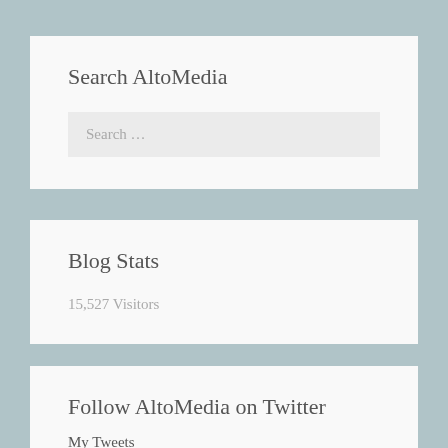Search AltoMedia
Search …
Blog Stats
15,527 Visitors
Follow AltoMedia on Twitter
My Tweets